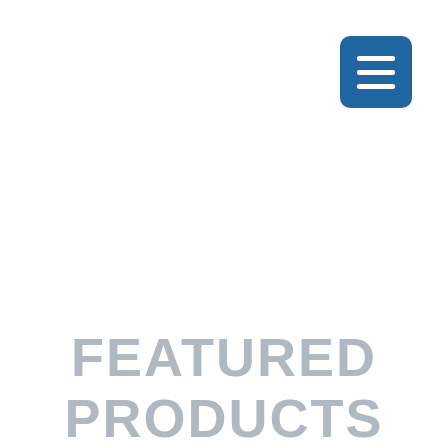[Figure (other): Blue rounded square menu/hamburger button icon with three white horizontal bars]
FEATURED PRODUCTS